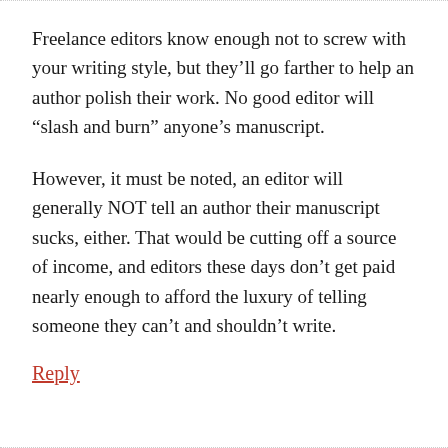Freelance editors know enough not to screw with your writing style, but they’ll go farther to help an author polish their work. No good editor will “slash and burn” anyone’s manuscript.
However, it must be noted, an editor will generally NOT tell an author their manuscript sucks, either. That would be cutting off a source of income, and editors these days don’t get paid nearly enough to afford the luxury of telling someone they can’t and shouldn’t write.
Reply